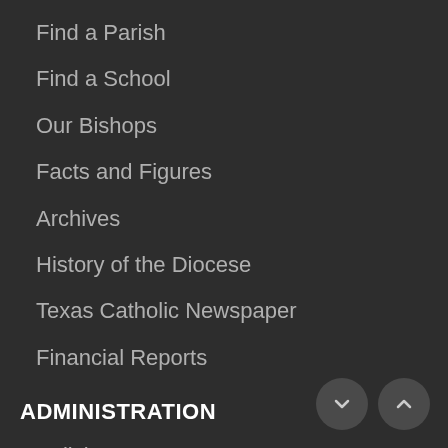Find a Parish
Find a School
Our Bishops
Facts and Figures
Archives
History of the Diocese
Texas Catholic Newspaper
Financial Reports
ADMINISTRATION
Policies
Human Resources
Job Opportunities
Deaneries